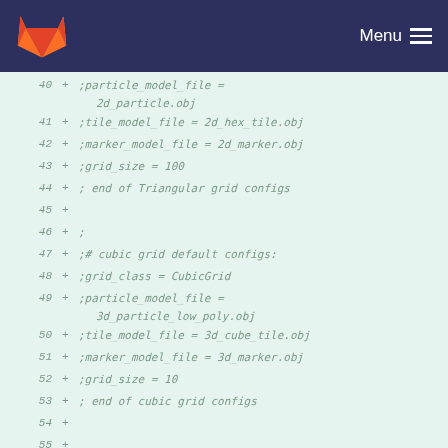GitLab | Menu
Code diff lines 40-57 showing configuration file additions
40 + ;particle_model_file = 2d_particle.obj
41 + ;tile_model_file = 2d_hex_tile.obj
42 + ;marker_model_file = 2d_marker.obj
43 + ;grid_size = 100
44 + ;  end of Triangular grid configs
45 +
46 + ;
47 + ;# cubic grid default configs:
48 + ;grid_class = CubicGrid
49 + ;particle_model_file = 3d_particle_low_poly.obj
50 + ;tile_model_file = 3d_cube_tile.obj
51 + ;marker_model_file = 3d_marker.obj
52 + ;grid_size = 10
53 + ;  end of cubic grid configs
54 +
55 +
56 + # ccp grid default configs:
57 + grid_class = CCPGrid